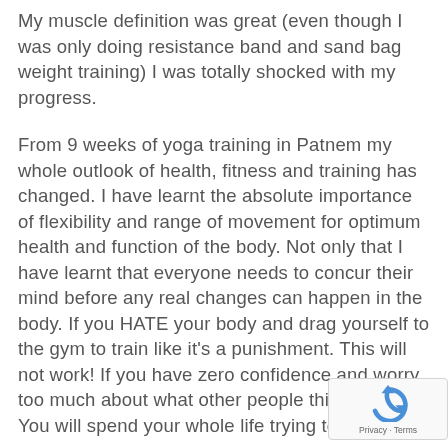My muscle definition was great (even though I was only doing resistance band and sand bag weight training) I was totally shocked with my progress.
From 9 weeks of yoga training in Patnem my whole outlook of health, fitness and training has changed. I have learnt the absolute importance of flexibility and range of movement for optimum health and function of the body. Not only that I have learnt that everyone needs to concur their mind before any real changes can happen in the body. If you HATE your body and drag yourself to the gym to train like it's a punishment. This will not work! If you have zero confidence and worry too much about what other people think of you. You will spend your whole life trying to
[Figure (logo): reCAPTCHA badge with Privacy and Terms text]